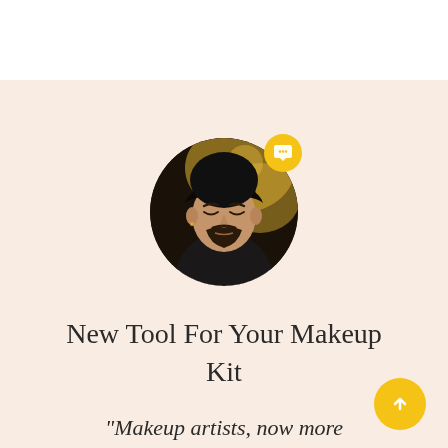[Figure (photo): Circular profile photo of a bearded man with eyes closed, wearing dark clothing, with a yellow chat bubble badge icon overlaid at top right of the circle]
New Tool For Your Makeup Kit
"Makeup artists, now more